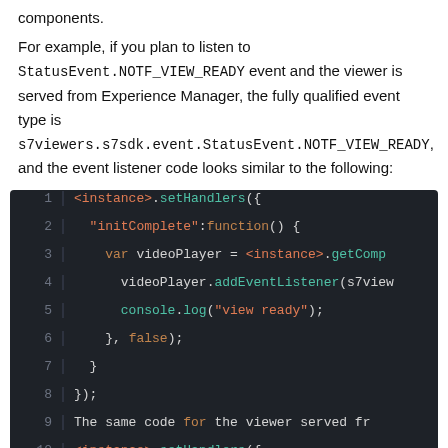components.
For example, if you plan to listen to StatusEvent.NOTF_VIEW_READY event and the viewer is served from Experience Manager, the fully qualified event type is s7viewers.s7sdk.event.StatusEvent.NOTF_VIEW_READY, and the event listener code looks similar to the following:
[Figure (screenshot): A dark-themed code editor block showing JavaScript code with line numbers 1-11. Lines show setHandlers, initComplete function, videoPlayer variable, addEventListener, console.log, closing braces, and repeated pattern.]